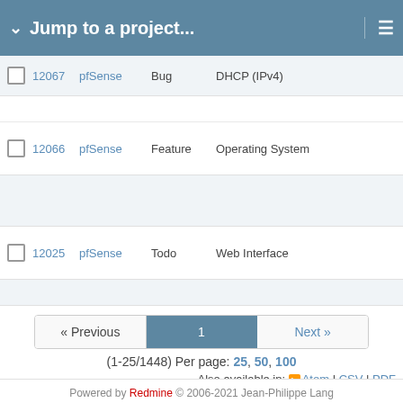Jump to a project...
|  | # | Project | Tracker | Category |
| --- | --- | --- | --- | --- |
|  | 12067 | pfSense | Bug | DHCP (IPv4) |
|  | 12066 | pfSense | Feature | Operating System |
|  | 12025 | pfSense | Todo | Web Interface |
« Previous   1   Next »
(1-25/1448) Per page: 25, 50, 100
Also available in: Atom | CSV | PDF
Powered by Redmine © 2006-2021 Jean-Philippe Lang